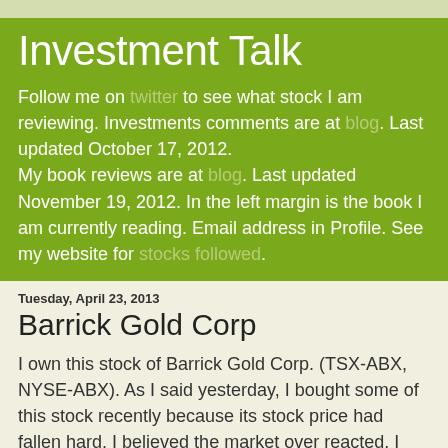Investment Talk
Follow me on twitter to see what stock I am reviewing. Investments comments are at blog. Last updated October 17, 2012.
My book reviews are at blog. Last updated November 19, 2012. In the left margin is the book I am currently reading. Email address in Profile. See my website for stocks followed.
Tuesday, April 23, 2013
Barrick Gold Corp
I own this stock of Barrick Gold Corp. (TSX-ABX, NYSE-ABX). As I said yesterday, I bought some of this stock recently because its stock price had fallen hard. I believed the market over reacted. I just bought 100 shares as I am